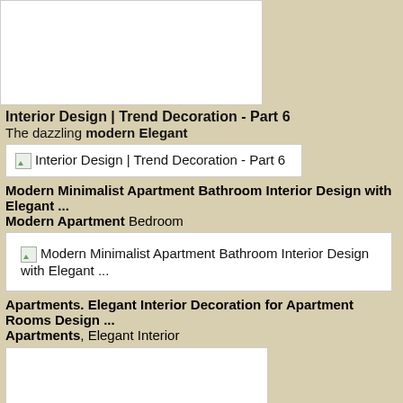[Figure (photo): White blank image placeholder at top]
Interior Design | Trend Decoration - Part 6
The dazzling modern Elegant
[Figure (screenshot): Search result image thumbnail: Interior Design | Trend Decoration - Part 6]
Modern Minimalist Apartment Bathroom Interior Design with Elegant ...
Modern Apartment Bedroom
[Figure (screenshot): Search result image thumbnail: Modern Minimalist Apartment Bathroom Interior Design with Elegant ...]
Apartments. Elegant Interior Decoration for Apartment Rooms Design ...
Apartments, Elegant Interior
[Figure (photo): White blank image placeholder at bottom]